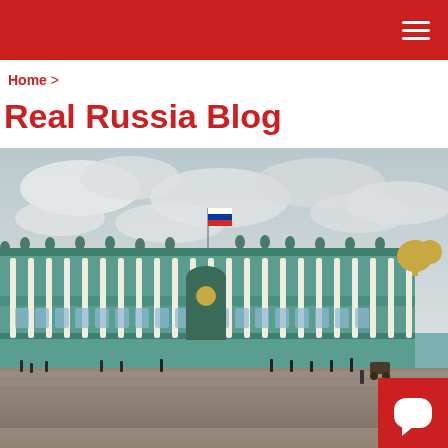Real Russia Blog – navigation bar with hamburger menu
Home >
Real Russia Blog
[Figure (photo): Photograph of the Winter Palace (Hermitage Museum) in Saint Petersburg, Russia, with a Russian flag flying from the roof, tourists in the square below, overcast sky. A chat bubble overlay reads 'Hi. Need any help?' and a red chat button is in the bottom-right corner. A white date overlay in the bottom-left shows '17 FEBRUARY 2019'.]